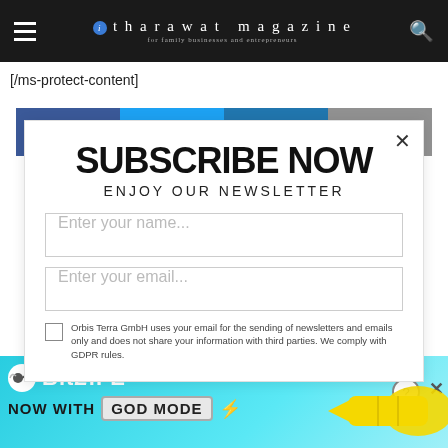itharawat magazine — for family businesses and entrepreneurs
[/ms-protect-content]
[Figure (infographic): Social share buttons: Facebook, Twitter, LinkedIn, Email]
SUBSCRIBE NOW
ENJOY OUR NEWSLETTER
Enter your name...
Enter your email...
Orbis Terra GmbH uses your email for the sending of newsletters and emails only and does not share your information with third parties. We comply with GDPR rules.
[Figure (infographic): BitLife ad banner: BitLife NOW WITH GOD MODE advertisement with cyan background and pointing hand graphic]